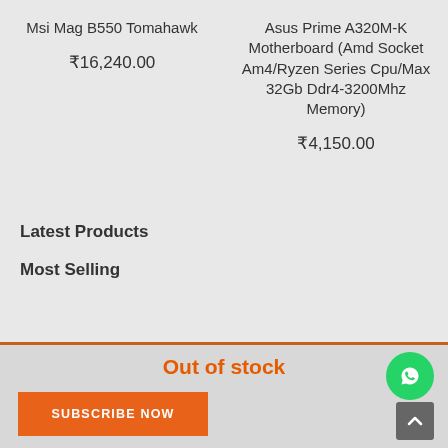Msi Mag B550 Tomahawk
₹16,240.00
Asus Prime A320M-K Motherboard (Amd Socket Am4/Ryzen Series Cpu/Max 32Gb Ddr4-3200Mhz Memory)
₹4,150.00
Latest Products
Most Selling
Out of stock
SUBSCRIBE NOW